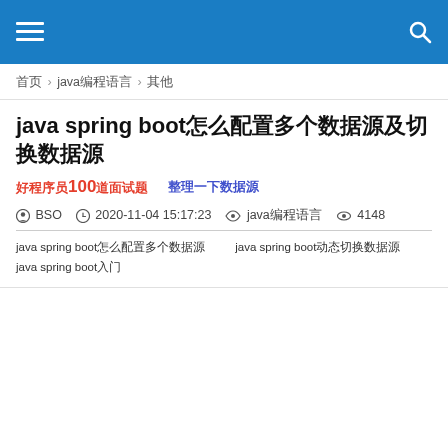≡  🔍
首页 › java编程语言 › 其他
java spring boot怎么配置多个数据源及切换数据源
好程序员100道面试题  整理一下数据源
BSO  2020-11-04 15:17:23  java编程语言  4148
java spring boot怎么配置多个数据源  java spring boot动态切换数据源  java spring boot入门